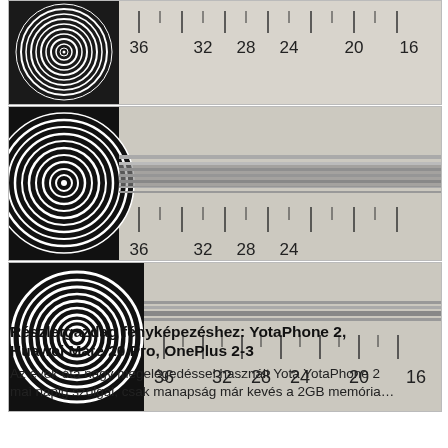[Figure (photo): Top resolution test chart photo: black and white concentric ring pattern on left, horizontal resolution scale with tick marks and numbers 36 32 28 24 20 16 on right, light gray background]
[Figure (photo): Middle resolution test chart photo: black and white concentric ring pattern on left (larger, closer crop), horizontal gray bands across center, tick marks and partial numbers 36 32 28 24 at bottom, light gray background]
[Figure (photo): Bottom resolution test chart photo: black and white concentric ring pattern on left (largest, clearest rings with white center), horizontal resolution scale with tick marks and numbers 36 32 28 24 20 16 on right, light gray background]
Részletgazdag fényképezéshez: YotaPhone 2, Huawei Mate 20 Pro, OnePlus 2-3
Az évek óta nagy megelégedéssel használt Yota YotaPhone 2 mai napig szolgál, csak manapság már kevés a 2GB memória…